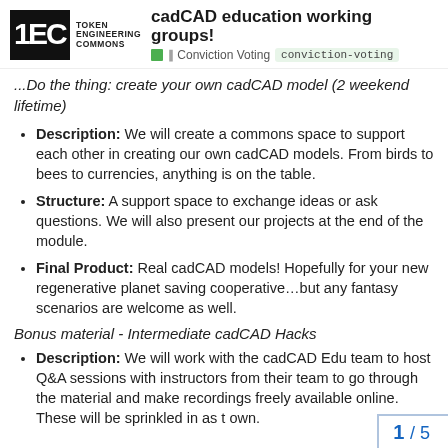cadCAD education working groups! | Conviction Voting | conviction-voting
...Do the thing: create your own cadCAD model (2 weekend lifetime)
Description: We will create a commons space to support each other in creating our own cadCAD models. From birds to bees to currencies, anything is on the table.
Structure: A support space to exchange ideas or ask questions. We will also present our projects at the end of the module.
Final Product: Real cadCAD models! Hopefully for your new regenerative planet saving cooperative…but any fantasy scenarios are welcome as well.
Bonus material - Intermediate cadCAD Hacks
Description: We will work with the cadCAD Edu team to host Q&A sessions with instructors from their team to go through the material and make recordings freely available online. These will be sprinkled in as t own.
1 / 5